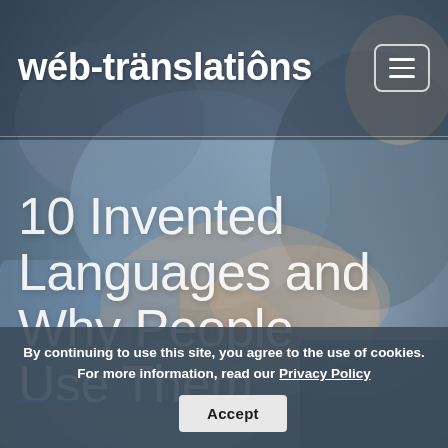[Figure (photo): Background photo of diverse people's hands joined together in a circle, blueish-gray toned, suggesting community and communication.]
wéb-tränslatiôns
10 Invented Languages and Why People Use Them
By continuing to use this site, you agree to the use of cookies. For more information, read our Privacy Policy
Accept